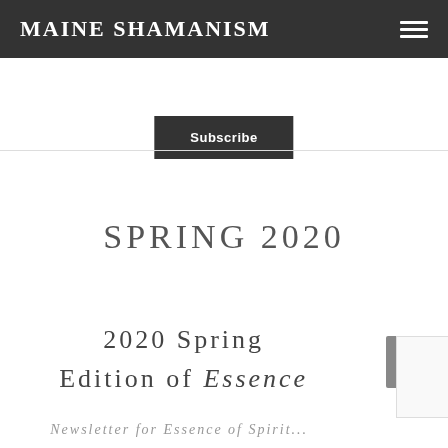MAINE SHAMANISM
Subscribe
SPRING 2020
2020 Spring Edition of Essence
Newsletter for Essence of Spirit...